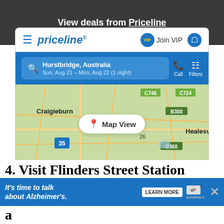View deals from Priceline
[Figure (screenshot): Priceline mobile app screenshot showing search for Hurstbridge, Australia, Sun Aug 21 - Mon Aug 22 (1 night), with a map view of the Melbourne/Healesville area, and a View deals button]
4. Visit Flinders Street Station
[Figure (screenshot): Advertisement banner: It's time to talk about Alzheimer's. with Learn More button and Alzheimer's Association logo]